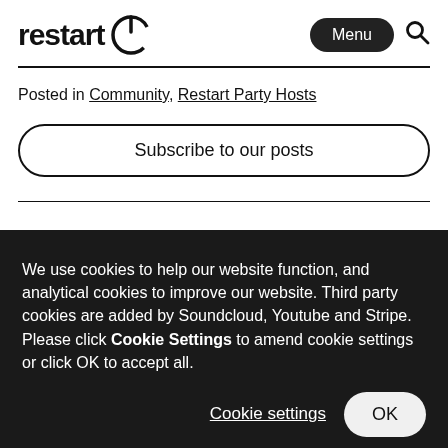restart [logo] | Menu [button] [search icon]
Posted in Community, Restart Party Hosts
Subscribe to our posts
We use cookies to help our website function, and analytical cookies to improve our website. Third party cookies are added by Soundcloud, Youtube and Stripe. Please click Cookie Settings to amend cookie settings or click OK to accept all.
Cookie settings  OK